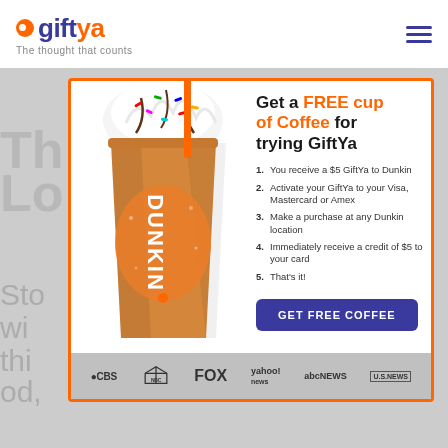[Figure (logo): GiftYa logo with orange circle icon and text 'gift' in navy, 'ya' in orange, tagline 'The thought that counts']
[Figure (infographic): GiftYa promotional ad popup with orange border. Shows a Dunkin iced coffee cup with whipped cream and sprinkles. Headline: 'Get a FREE cup of Coffee for trying GiftYa'. Five numbered steps. Purple CTA button 'GET FREE COFFEE'. Footer with media logos: CBS, NBC, FOX, yahoo! news, abc NEWS, US NEWS.]